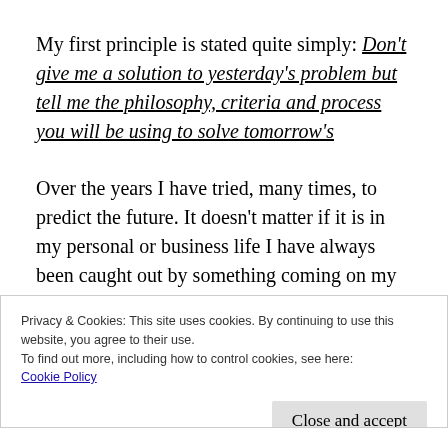My first principle is stated quite simply: Don't give me a solution to yesterday's problem but tell me the philosophy, criteria and process you will be using to solve tomorrow's
Over the years I have tried, many times, to predict the future. It doesn't matter if it is in my personal or business life I have always been caught out by something coming on my blind side. Predicting the long-term future is
Privacy & Cookies: This site uses cookies. By continuing to use this website, you agree to their use.
To find out more, including how to control cookies, see here: Cookie Policy
Close and accept